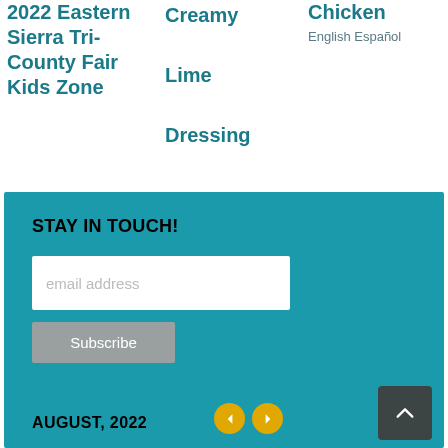2022 Eastern Sierra Tri-County Fair Kids Zone
Creamy Lime Dressing
Chicken
English Español
STAY IN TOUCH!
email address
Subscribe
AUGUST, 2022